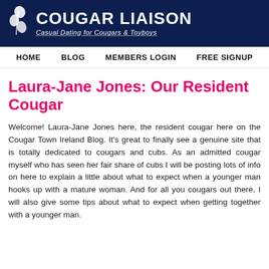[Figure (logo): Cougar Liaison website header logo with dark navy background, leaf icon on left, large white bold text 'COUGAR LIAISON' and italic underlined subtitle 'Casual Dating for Cougars & Toyboys']
HOME    BLOG    MEMBERS LOGIN    FREE SIGNUP
Laura-Jane Jones: Our Resident Cougar
Welcome! Laura-Jane Jones here, the resident cougar here on the Cougar Town Ireland Blog. It's great to finally see a genuine site that is totally dedicated to cougars and cubs. As an admitted cougar myself who has seen her fair share of cubs I will be posting lots of info on here to explain a little about what to expect when a younger man hooks up with a mature woman. And for all you cougars out there, I will also give some tips about what to expect when getting together with a younger man.